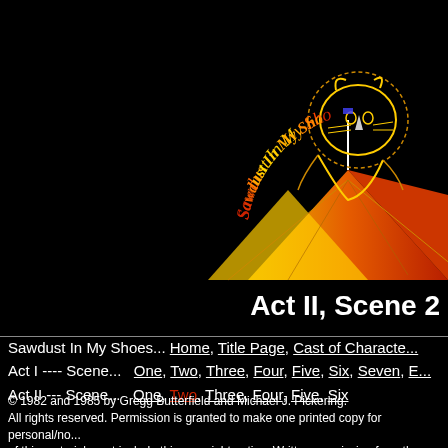[Figure (logo): Sawdust In My Shoes logo: decorative gothic text arching over an illustration of a lion-faced figure under a circus tent, colored in yellow, orange, and red on black background]
Act II, Scene 2
Sawdust In My Shoes... Home, Title Page, Cast of Characters
Act I ---- Scene... One, Two, Three, Four, Five, Six, Seven, Eight
Act II --- Scene... One, Two, Three, Four, Five, Six
© 1982 and 1985 by Gregg Butterfield and Michael J. Pickering. All rights reserved. Permission is granted to make one printed copy for personal/non-commercial use. Any copy of this material must include this copyright notice. Written permission from the authors is required to reproduce this material by any method. Written permission from the authors is required to perform this work on stage or by any method.